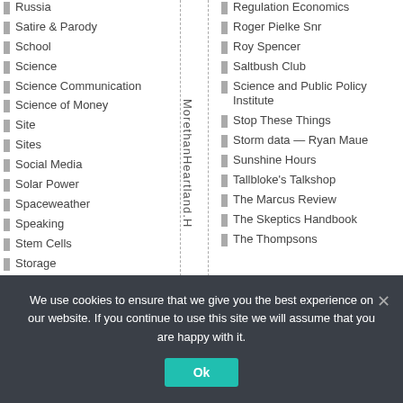Russia
Satire & Parody
School
Science
Science Communication
Science of Money
Site
Sites
Social Media
Solar Power
Spaceweather
Speaking
Stem Cells
Storage
MorethanHeartland.H
Regulation Economics
Roger Pielke Snr
Roy Spencer
Saltbush Club
Science and Public Policy Institute
Stop These Things
Storm data — Ryan Maue
Sunshine Hours
Tallbloke's Talkshop
The Marcus Review
The Skeptics Handbook
The Thompsons
We use cookies to ensure that we give you the best experience on our website. If you continue to use this site we will assume that you are happy with it.